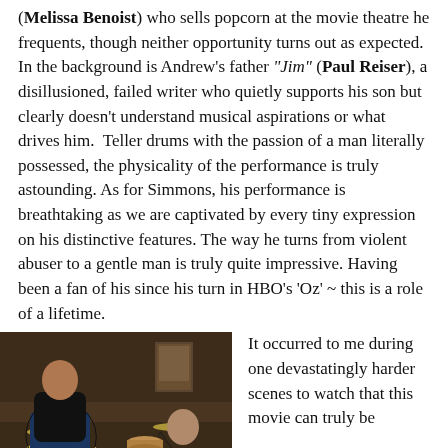(Melissa Benoist) who sells popcorn at the movie theatre he frequents, though neither opportunity turns out as expected. In the background is Andrew's father "Jim" (Paul Reiser), a disillusioned, failed writer who quietly supports his son but clearly doesn't understand musical aspirations or what drives him. Teller drums with the passion of a man literally possessed, the physicality of the performance is truly astounding. As for Simmons, his performance is breathtaking as we are captivated by every tiny expression on his distinctive features. The way he turns from violent abuser to a gentle man is truly quite impressive. Having been a fan of his since his turn in HBO's 'Oz' ~ this is a role of a lifetime.
[Figure (photo): A drummer playing at a drum kit in a dimly lit rehearsal room, with a bald man leaning over toward him in an intense confrontational pose. Warm brown tones with a portrait visible on the wall in the background.]
It occurred to me during one devastatingly harder scenes to watch that this movie can truly be